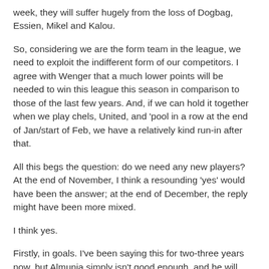week, they will suffer hugely from the loss of Dogbag, Essien, Mikel and Kalou.
So, considering we are the form team in the league, we need to exploit the indifferent form of our competitors. I agree with Wenger that a much lower points will be needed to win this league this season in comparison to those of the last few years. And, if we can hold it together when we play chels, United, and 'pool in a row at the end of Jan/start of Feb, we have a relatively kind run-in after that.
All this begs the question: do we need any new players? At the end of November, I think a resounding 'yes' would have been the answer; at the end of December, the reply might have been more mixed.
I think yes.
Firstly, in goals. I've been saying this for two-three years now, but Almunia simply isn't good enough, and he will never be good enough. The uncertainty he breeds in defence is paralysing the players in front of him, and making